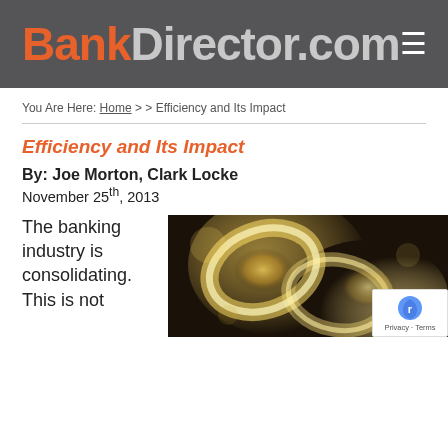BankDirector.com
You Are Here: Home > > Efficiency and Its Impact
Efficiency and Its Impact
By: Joe Morton, Clark Locke
November 25th, 2013
The banking industry is consolidating. This is not
[Figure (photo): Close-up photo of warm glowing light bokeh with curved golden shapes, dark background]